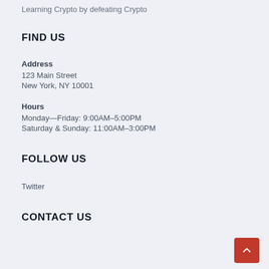Learning Crypto by defeating Crypto
FIND US
Address
123 Main Street
New York, NY 10001
Hours
Monday—Friday: 9:00AM–5:00PM
Saturday & Sunday: 11:00AM–3:00PM
FOLLOW US
Twitter
CONTACT US